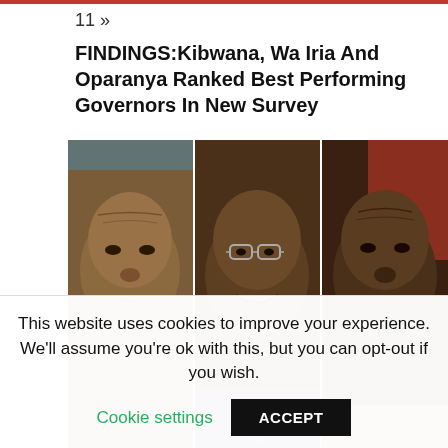11 »
FINDINGS:Kibwana, Wa Iria And Oparanya Ranked Best Performing Governors In New Survey
[Figure (photo): Three portrait photos side by side: left shows a man with a serious expression, middle shows a man wearing glasses smiling, right shows an older man with a stern expression]
This website uses cookies to improve your experience. We'll assume you're ok with this, but you can opt-out if you wish.
Cookie settings
ACCEPT